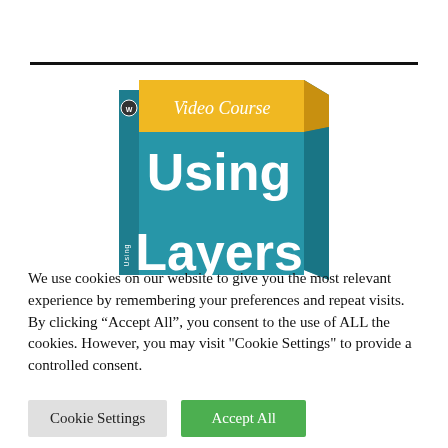[Figure (photo): A 3D product box for a Video Course titled 'Using Layers', with a yellow top banner reading 'Video Course', a teal/blue body with 'Using' in large white text and 'Layers' partially visible at the bottom, with a WordPress logo on the spine.]
We use cookies on our website to give you the most relevant experience by remembering your preferences and repeat visits. By clicking “Accept All”, you consent to the use of ALL the cookies. However, you may visit "Cookie Settings" to provide a controlled consent.
Cookie Settings
Accept All